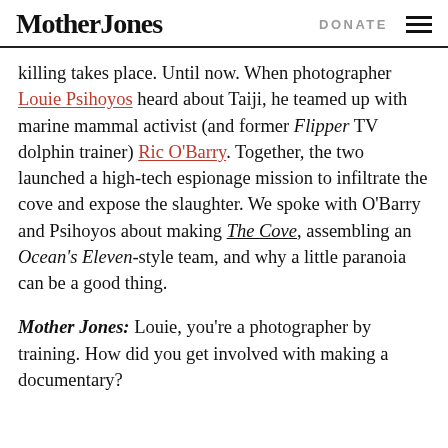Mother Jones   DONATE
killing takes place. Until now. When photographer Louie Psihoyos heard about Taiji, he teamed up with marine mammal activist (and former Flipper TV dolphin trainer) Ric O'Barry. Together, the two launched a high-tech espionage mission to infiltrate the cove and expose the slaughter. We spoke with O'Barry and Psihoyos about making The Cove, assembling an Ocean's Eleven-style team, and why a little paranoia can be a good thing.
Mother Jones: Louie, you're a photographer by training. How did you get involved with making a documentary?